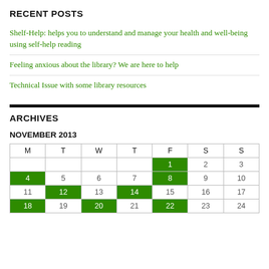RECENT POSTS
Shelf-Help: helps you to understand and manage your health and well-being using self-help reading
Feeling anxious about the library? We are here to help
Technical Issue with some library resources
ARCHIVES
NOVEMBER 2013
| M | T | W | T | F | S | S |
| --- | --- | --- | --- | --- | --- | --- |
|  |  |  |  | 1 | 2 | 3 |
| 4 | 5 | 6 | 7 | 8 | 9 | 10 |
| 11 | 12 | 13 | 14 | 15 | 16 | 17 |
| 18 | 19 | 20 | 21 | 22 | 23 | 24 |